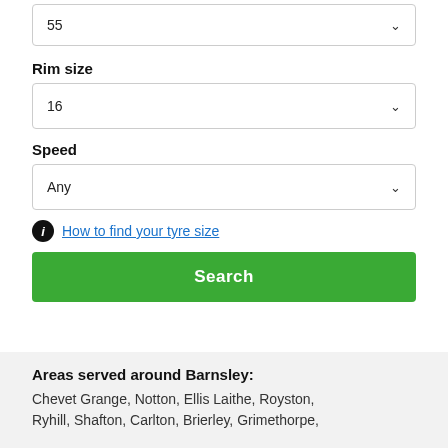55
Rim size
16
Speed
Any
How to find your tyre size
Search
Areas served around Barnsley:
Chevet Grange, Notton, Ellis Laithe, Royston, Ryhill, Shafton, Carlton, Brierley, Grimethorpe,